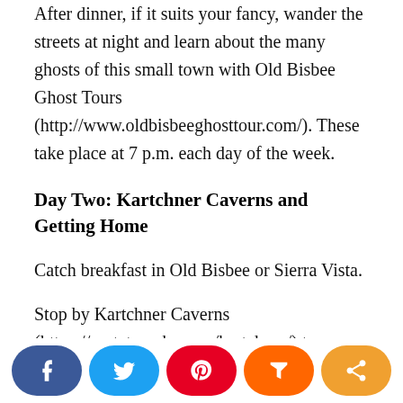After dinner, if it suits your fancy, wander the streets at night and learn about the many ghosts of this small town with Old Bisbee Ghost Tours (http://www.oldbisbeeghosttour.com/). These take place at 7 p.m. each day of the week.
Day Two: Kartchner Caverns and Getting Home
Catch breakfast in Old Bisbee or Sierra Vista.
Stop by Kartchner Caverns (https://azstateparks.com/kartchner/) to see one of the United States' most colorful, living caves. You will not be disappointed in this special, natural attraction. It is